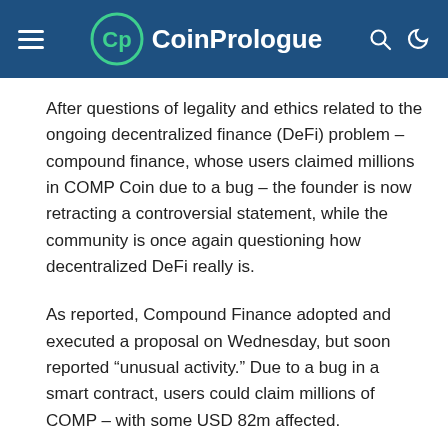CoinPrologue
After questions of legality and ethics related to the ongoing decentralized finance (DeFi) problem – compound finance, whose users claimed millions in COMP Coin due to a bug – the founder is now retracting a controversial statement, while the community is once again questioning how decentralized DeFi really is.
As reported, Compound Finance adopted and executed a proposal on Wednesday, but soon reported “unusual activity.” Due to a bug in a smart contract, users could claim millions of COMP – with some USD 82m affected.